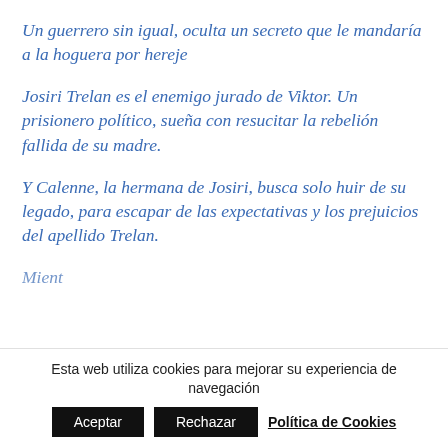Un guerrero sin igual, oculta un secreto que le mandaría a la hoguera por hereje
Josiri Trelan es el enemigo jurado de Viktor. Un prisionero político, sueña con resucitar la rebelión fallida de su madre.
Y Calenne, la hermana de Josiri, busca solo huir de su legado, para escapar de las expectativas y los prejuicios del apellido Trelan.
Mientras...
Esta web utiliza cookies para mejorar su experiencia de navegación
Aceptar
Rechazar
Política de Cookies